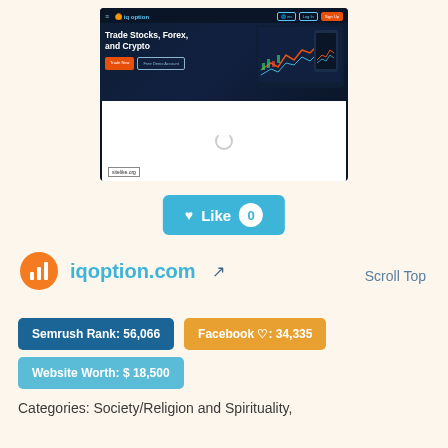[Figure (screenshot): Screenshot of iqoption.com website showing 'Trade Stocks, Forex, and Crypto' hero section with dark blue background, trading charts, orange CTA button, and a white panel with loading spinner. A sitelike.org watermark is visible.]
[Figure (other): Teal/blue Like button with heart icon showing '0' count]
iqoption.com
Scroll Top
Semrush Rank: 56,066
Facebook ♡: 34,335
Website Worth: $ 18,500
Categories: Society/Religion and Spirituality,